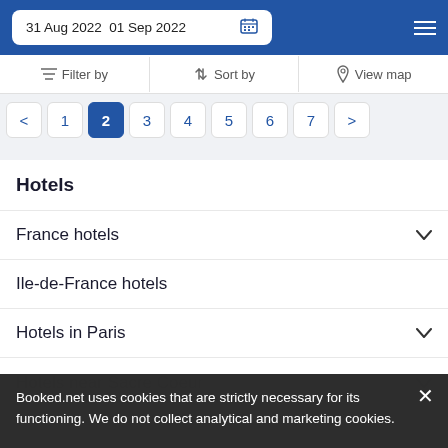31 Aug 2022  01 Sep 2022
Filter by   Sort by   View map
< 1 2 3 4 5 6 7 >
Hotels
France hotels
Ile-de-France hotels
Hotels in Paris
Hotels near Sacre Coeur
Booked.net uses cookies that are strictly necessary for its functioning. We do not collect analytical and marketing cookies.